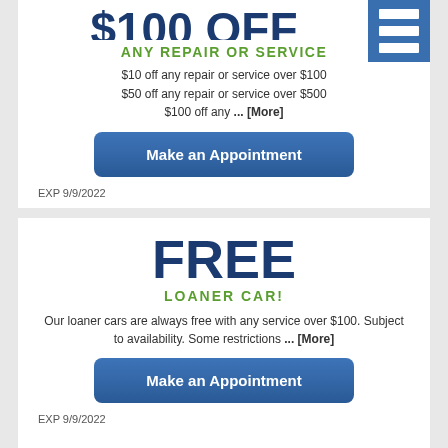[Figure (illustration): Blue menu/hamburger icon in top right corner of first coupon card]
ANY REPAIR OR SERVICE
$10 off any repair or service over $100
$50 off any repair or service over $500
$100 off any ... [More]
Make an Appointment
EXP 9/9/2022
FREE
LOANER CAR!
Our loaner cars are always free with any service over $100. Subject to availability. Some restrictions ... [More]
Make an Appointment
EXP 9/9/2022